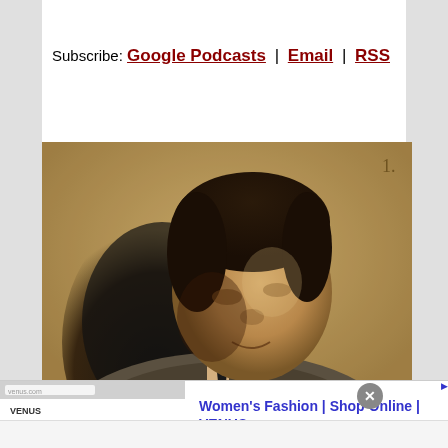Subscribe: Google Podcasts | Email | RSS
[Figure (photo): Vintage black-and-white newspaper photograph of a man in a suit and tie, looking downward, on aged yellowed paper.]
[Figure (screenshot): Advertisement banner for Women's Fashion | Shop Online | VENUS. Shows a fashion website screenshot on the left with a woman in white outfit. Text reads: Women's Fashion | Shop Online | VENUS. Shop the best in women's fashion, clothing, swimwear. venus.com. Has a close button (X) and a play/arrow button on the right.]